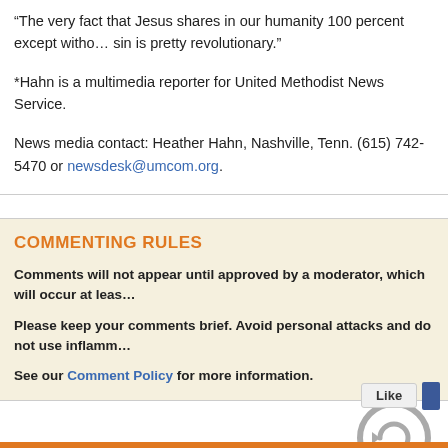“The very fact that Jesus shares in our humanity 100 percent except witho... sin is pretty revolutionary.”
*Hahn is a multimedia reporter for United Methodist News Service.
News media contact: Heather Hahn, Nashville, Tenn. (615) 742-5470 or newsdesk@umcom.org.
COMMENTING RULES
Comments will not appear until approved by a moderator, which will occur at leas...
Please keep your comments brief. Avoid personal attacks and do not use inflamm...
See our Comment Policy for more information.
[Figure (illustration): Circular refresh/comment icon in gray]
[Figure (screenshot): Like button widget]